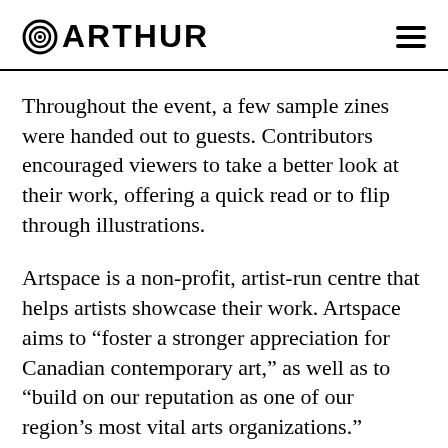@ARTHUR
Throughout the event, a few sample zines were handed out to guests. Contributors encouraged viewers to take a better look at their work, offering a quick read or to flip through illustrations.
Artspace is a non-profit, artist-run centre that helps artists showcase their work. Artspace aims to “foster a stronger appreciation for Canadian contemporary art,” as well as to “build on our reputation as one of our region’s most vital arts organizations.” Additionally, Artspace aims to advocate for the rights of